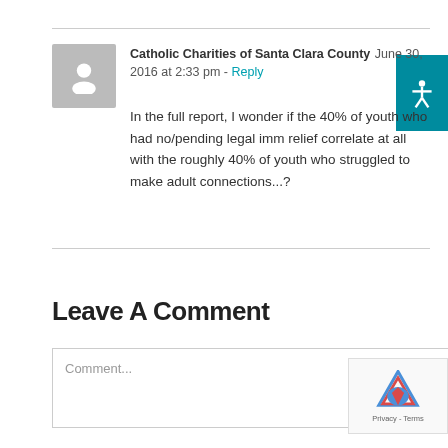Catholic Charities of Santa Clara County  June 30, 2016 at 2:33 pm - Reply
In the full report, I wonder if the 40% of youth who had no/pending legal imm relief correlate at all with the roughly 40% of youth who struggled to make adult connections...?
Leave A Comment
Comment...